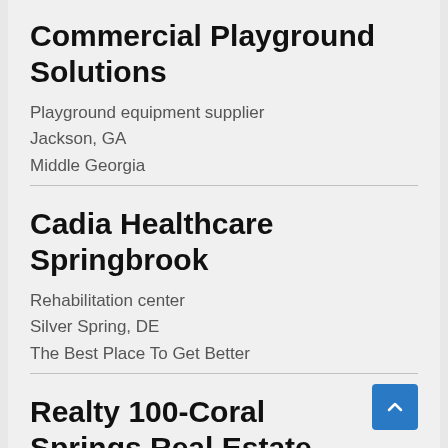Commercial Playground Solutions
Playground equipment supplier
Jackson, GA
Middle Georgia
Cadia Healthcare Springbrook
Rehabilitation center
Silver Spring, DE
The Best Place To Get Better
Realty 100-Coral Springs Real Estate